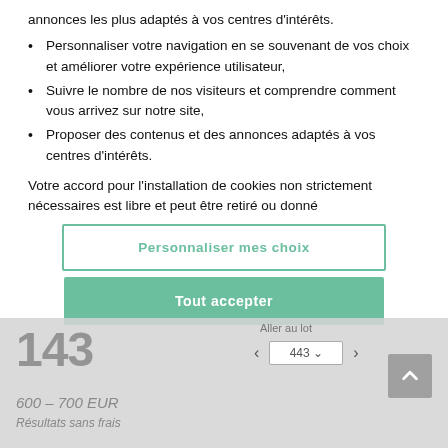annonces les plus adaptés à vos centres d'intérêts.
Personnaliser votre navigation en se souvenant de vos choix et améliorer votre expérience utilisateur,
Suivre le nombre de nos visiteurs et comprendre comment vous arrivez sur notre site,
Proposer des contenus et des annonces adaptés à vos centres d'intérêts.
Votre accord pour l'installation de cookies non strictement nécessaires est libre et peut être retiré ou donné...
Personnaliser mes choix
Tout accepter
Aller au lot
143
443
600 – 700 EUR
Résultats sans frais